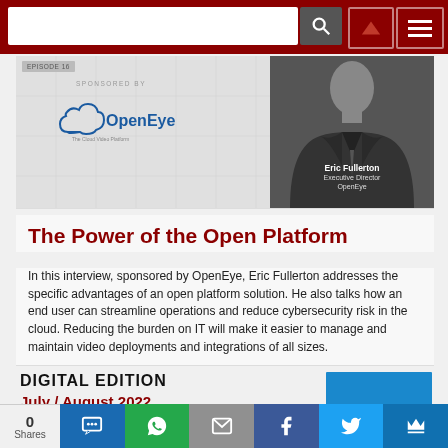[Figure (photo): Podcast episode card: sponsored by OpenEye logo, with a photo of Eric Fullerton, Executive Director, OpenEye. Episode 16.]
The Power of the Open Platform
In this interview, sponsored by OpenEye, Eric Fullerton addresses the specific advantages of an open platform solution. He also talks how an end user can streamline operations and reduce cybersecurity risk in the cloud. Reducing the burden on IT will make it easier to manage and maintain video deployments and integrations of all sizes.
DIGITAL EDITION
July / August 2022
0 Shares